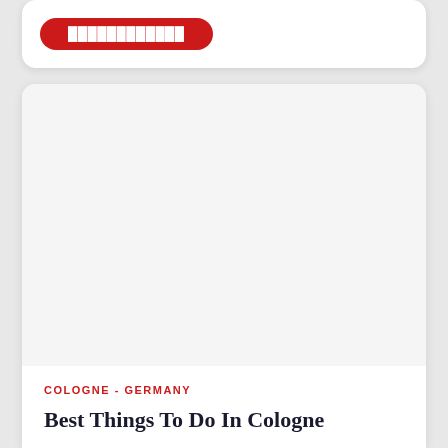[Figure (screenshot): Top card with a red pill-shaped button, partially visible at top of page]
[Figure (photo): Large white/blank image area within a card — photo of Cologne not visible at this crop]
COLOGNE - GERMANY
Best Things To Do In Cologne